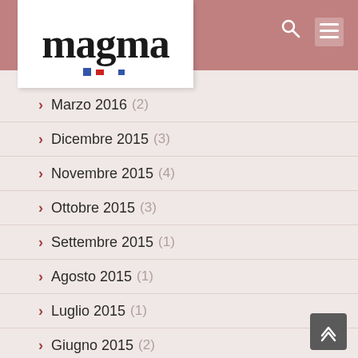magma
Marzo 2016 (2)
Dicembre 2015 (3)
Novembre 2015 (4)
Ottobre 2015 (3)
Settembre 2015 (1)
Agosto 2015 (1)
Luglio 2015 (1)
Giugno 2015 (2)
Maggio 2015 (1)